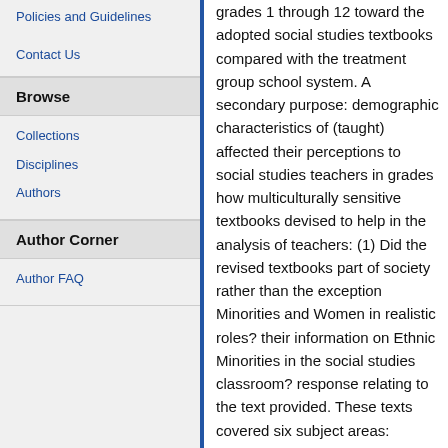Policies and Guidelines
Contact Us
Browse
Collections
Disciplines
Authors
Author Corner
Author FAQ
grades 1 through 12 toward the adopted social studies textbooks compared with the treatment group school system. A secondary purpose: demographic characteristics of (taught) affected their perceptions to social studies teachers in grades how multiculturally sensitive textbooks devised to help in the analysis of teachers: (1) Did the revised textbooks part of society rather than the exception Minorities and Women in realistic roles? their information on Ethnic Minorities in the social studies classroom? response relating to the text provided. These texts covered six subject areas: History, Geography, Fifth grade response to each text was made on Strongly Disagree (1-5). Each One part asked for the teacher's asked for the teacher's response.